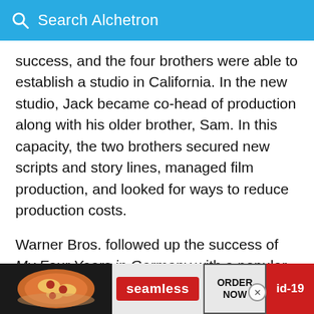Search Alchetron
success, and the four brothers were able to establish a studio in California. In the new studio, Jack became co-head of production along with his older brother, Sam. In this capacity, the two brothers secured new scripts and story lines, managed film production, and looked for ways to reduce production costs.
Warner Bros. followed up the success of My Four Years in Germany with a popular serial titled The Tiger's Claw in 1919. That same year, the studio was less successful in its efforts to promote Open Your Eyes, a tract on the dangers of venereal diseas…
[Figure (screenshot): Advertisement banner at the bottom: pizza image on the left, Seamless red badge in the center, ORDER NOW button, and id-19 red badge on the right with a close (X) circle button.]